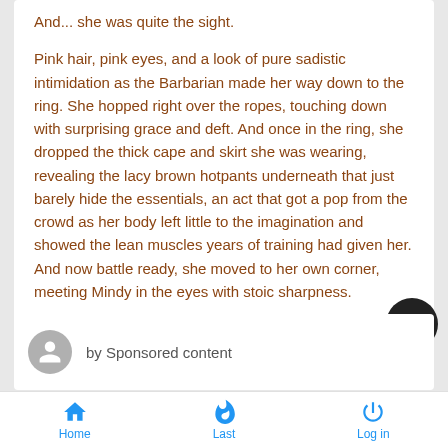And... she was quite the sight.
Pink hair, pink eyes, and a look of pure sadistic intimidation as the Barbarian made her way down to the ring. She hopped right over the ropes, touching down with surprising grace and deft. And once in the ring, she dropped the thick cape and skirt she was wearing, revealing the lacy brown hotpants underneath that just barely hide the essentials, an act that got a pop from the crowd as her body left little to the imagination and showed the lean muscles years of training had given her. And now battle ready, she moved to her own corner, meeting Mindy in the eyes with stoic sharpness.
by Sponsored content
Home  Last  Log in